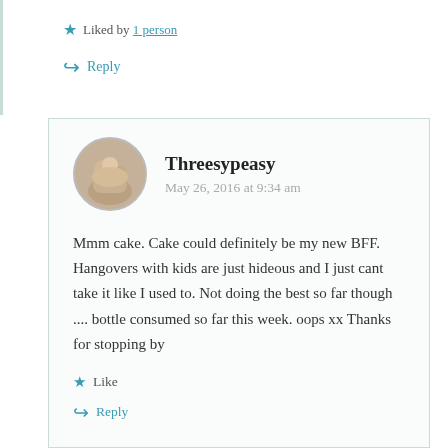Liked by 1 person
Reply
Threesypeasy
May 26, 2016 at 9:34 am
Mmm cake. Cake could definitely be my new BFF. Hangovers with kids are just hideous and I just cant take it like I used to. Not doing the best so far though .... bottle consumed so far this week. oops xx Thanks for stopping by
Like
Reply